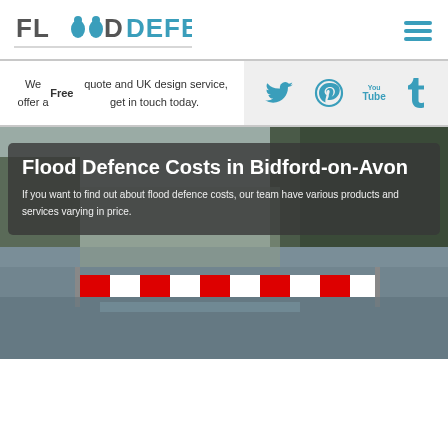[Figure (logo): Flood Defences logo with teal water drops and teal text]
We offer a Free quote and UK design service, get in touch today.
[Figure (infographic): Social media icons: Twitter, Pinterest, YouTube, Tumblr in teal on grey background]
[Figure (photo): Photo of a flooded road in Bidford-on-Avon with red and white barriers and trees in background]
Flood Defence Costs in Bidford-on-Avon
If you want to find out about flood defence costs, our team have various products and services varying in price.